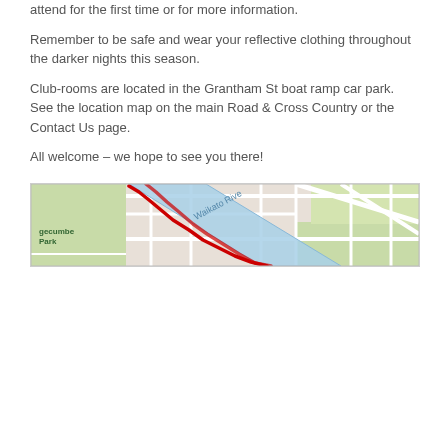attend for the first time or for more information.
Remember to be safe and wear your reflective clothing throughout the darker nights this season.
Club-rooms are located in the Grantham St boat ramp car park. See the location map on the main Road & Cross Country or the Contact Us page.
All welcome – we hope to see you there!
[Figure (map): Map showing Waikato River area with Grantham St boat ramp location, Bayrecumbe Park labeled, roads and river with red route marked]